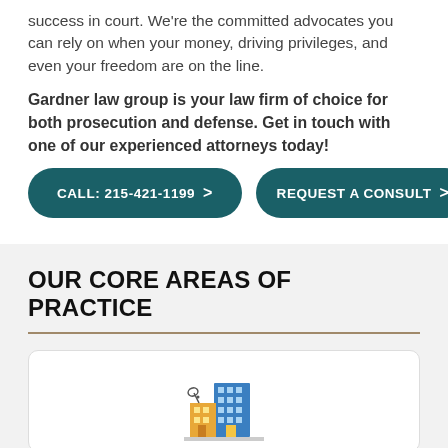success in court. We're the committed advocates you can rely on when your money, driving privileges, and even your freedom are on the line.
Gardner law group is your law firm of choice for both prosecution and defense. Get in touch with one of our experienced attorneys today!
CALL: 215-421-1199
REQUEST A CONSULT
OUR CORE AREAS OF PRACTICE
[Figure (illustration): Icon of a building/city skyline with a small satellite dish, representing urban law or criminal practice area]